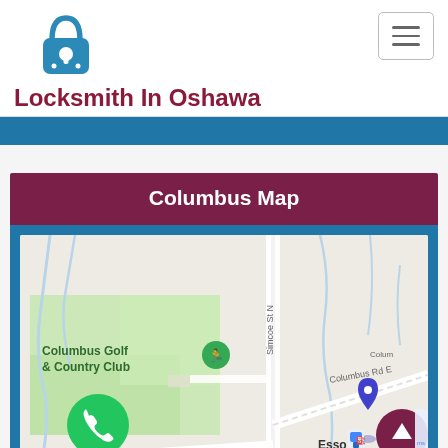[Figure (logo): Blue padlock icon with keyhole, used as website logo for Locksmith In Oshawa]
Locksmith In Oshawa
Columbus Map
[Figure (map): Google Maps screenshot showing Columbus area with Columbus Golf & Country Club, Simcoe St N, Columbus Rd E, Columbus Rd W, and Esso gas station marked. Blue location pin visible near Esso. Green phone FAB button in lower left. Scroll-to-top button in lower right.]